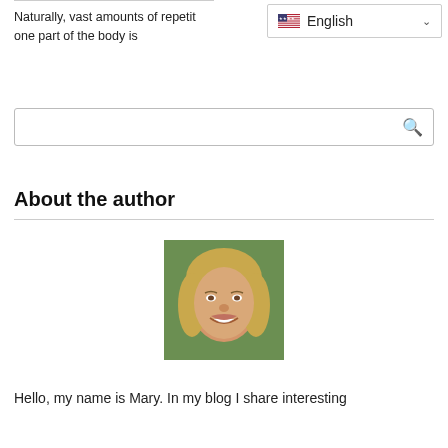Naturally, vast amounts of repetit... one part of the body is
[Figure (screenshot): English language selector dropdown with US flag]
[Figure (screenshot): Search input box with magnifying glass icon]
About the author
[Figure (photo): Portrait photo of Mary, a woman with blonde wavy hair, smiling]
Hello, my name is Mary. In my blog I share interesting articles about...